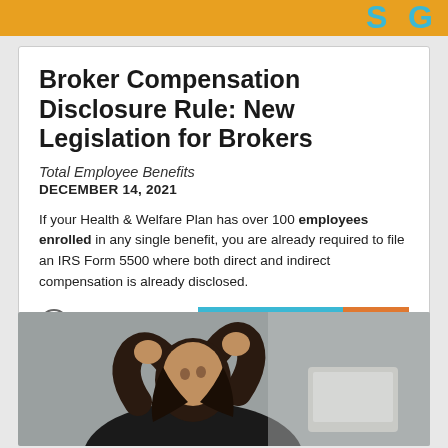SG (logo/header bar)
Broker Compensation Disclosure Rule: New Legislation for Brokers
Total Employee Benefits
DECEMBER 14, 2021
If your Health & Welfare Plan has over 100 employees enrolled in any single benefit, you are already required to file an IRS Form 5500 where both direct and indirect compensation is already disclosed.
[Figure (photo): Stressed woman with hands on head looking at documents/laptop]
Employee Benefits
52